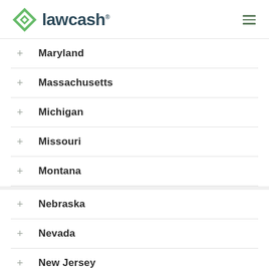lawcash
Maryland
Massachusetts
Michigan
Missouri
Montana
Nebraska
Nevada
New Jersey